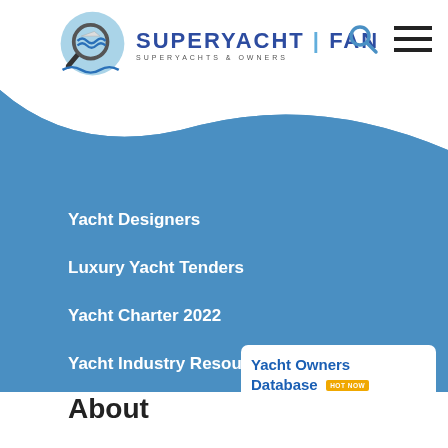[Figure (logo): SuperYacht Fan logo with magnifying glass and waves, brand name SUPERYACHT FAN, tagline SUPERYACHTS & OWNERS]
Yacht Designers
Luxury Yacht Tenders
Yacht Charter 2022
Yacht Industry Resources
[Figure (screenshot): Yacht Owners Database promotional card with magnifying glass imagery and 'HOT NOW' tag]
[Figure (screenshot): Language selector showing EN with UK flag]
About
[Figure (photo): Custom industrial filtration equipment photo]
Custom Industrial Filtration Solutions That Fit Your Unique & Specific Requirements.
Ad